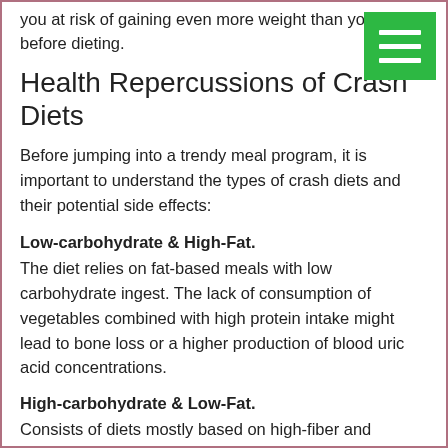you at risk of gaining even more weight than you had before dieting.
Health Repercussions of Crash Diets
Before jumping into a trendy meal program, it is important to understand the types of crash diets and their potential side effects:
Low-carbohydrate & High-Fat. The diet relies on fat-based meals with low carbohydrate ingest. The lack of consumption of vegetables combined with high protein intake might lead to bone loss or a higher production of blood uric acid concentrations.
High-carbohydrate & Low-Fat. Consists of diets mostly based on high-fiber and vegetable intake, while consuming low protein foods. The diet can increase insulin resistance, which might lead to type 2 diabetes. It is not recommended to do this diet during pregnancy.